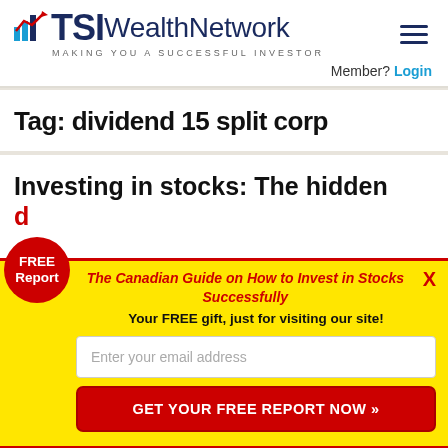TSI Wealth Network — MAKING YOU A SUCCESSFUL INVESTOR
Member? Login
Tag: dividend 15 split corp
Investing in stocks: The hidden
[Figure (infographic): FREE Report badge popup with yellow background and red border. Contains: FREE Report red circle badge, title 'The Canadian Guide on How to Invest in Stocks Successfully', subtitle 'Your FREE gift, just for visiting our site!', email input field, and red CTA button 'GET YOUR FREE REPORT NOW »']